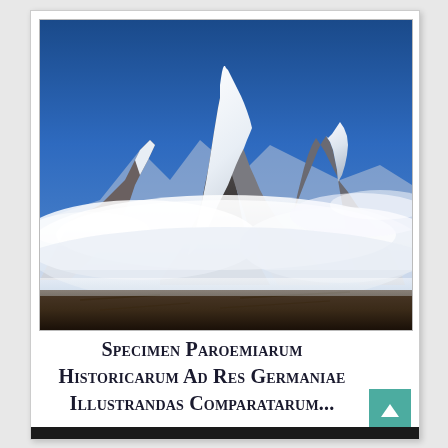[Figure (photo): Snow-capped mountain peaks (Himalayan style) with dramatic blue sky and clouds swirling around the lower slopes and base. The mountains are heavily snow-covered with rocky dark faces visible. Clouds fill the middle section of the image.]
Specimen Paroemiarum Historicarum Ad Res Germaniae Illustrandas Comparatarum...